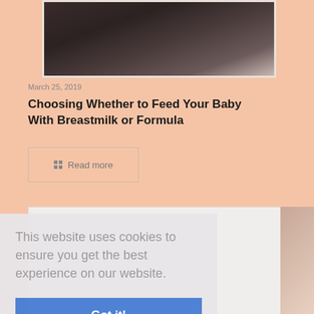[Figure (photo): Partial view of a person (likely pregnant woman) in dark clothing against a light background, cropped to show torso area only]
March 25, 2019
Choosing Whether to Feed Your Baby With Breastmilk or Formula
Read more
[Figure (photo): Partially visible image in a second article card at the bottom right]
This website uses cookies to ensure you get the best experience on our website.
Got it!